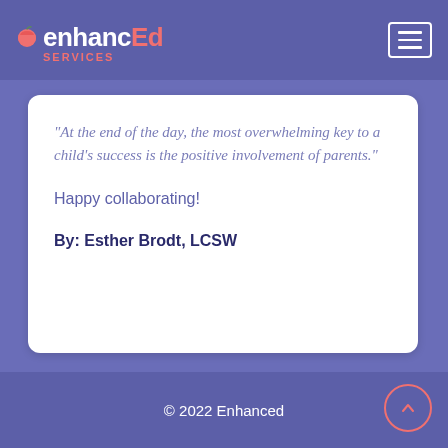[Figure (logo): enhancEd Services logo with apple icon on purple header background]
“At the end of the day, the most overwhelming key to a child’s success is the positive involvement of parents.”
Happy collaborating!
By: Esther Brodt, LCSW
© 2022 Enhanced